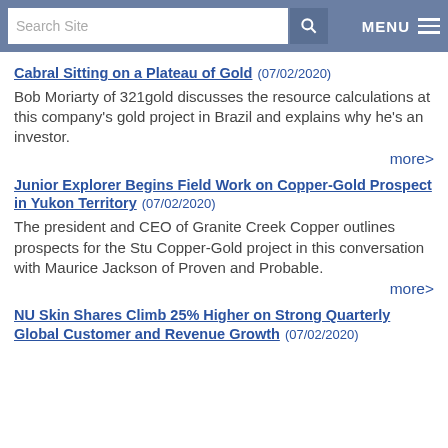Search Site | MENU
Cabral Sitting on a Plateau of Gold (07/02/2020)
Bob Moriarty of 321gold discusses the resource calculations at this company's gold project in Brazil and explains why he's an investor.
more>
Junior Explorer Begins Field Work on Copper-Gold Prospect in Yukon Territory (07/02/2020)
The president and CEO of Granite Creek Copper outlines prospects for the Stu Copper-Gold project in this conversation with Maurice Jackson of Proven and Probable.
more>
NU Skin Shares Climb 25% Higher on Strong Quarterly Global Customer and Revenue Growth (07/02/2020)